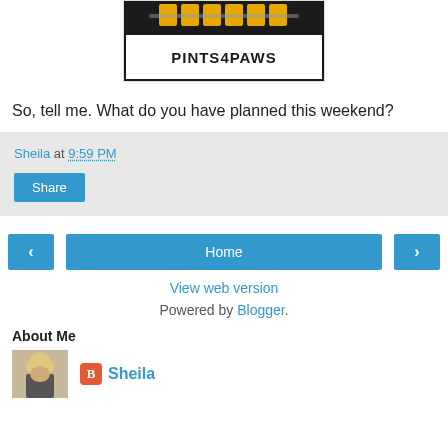[Figure (logo): Pints4Paws logo with beer mugs on black background and bold text]
So, tell me. What do you have planned this weekend?
Sheila at 9:59 PM
Share
Home
View web version
Powered by Blogger.
About Me
Sheila